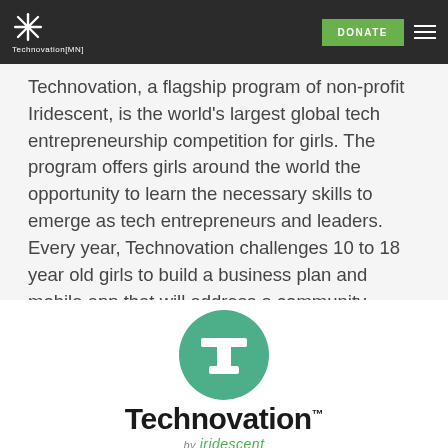Technovation[MN] — DONATE (navigation bar)
Technovation, a flagship program of non-profit Iridescent, is the world's largest global tech entrepreneurship competition for girls. The program offers girls around the world the opportunity to learn the necessary skills to emerge as tech entrepreneurs and leaders. Every year, Technovation challenges 10 to 18 year old girls to build a business plan and mobile app that will address a community problem. Since 2009, over 15,000 girls have participated from over 100 countries.
[Figure (logo): Technovation logo: green circle with white T icon above the wordmark 'Technovation™ by iridescent']